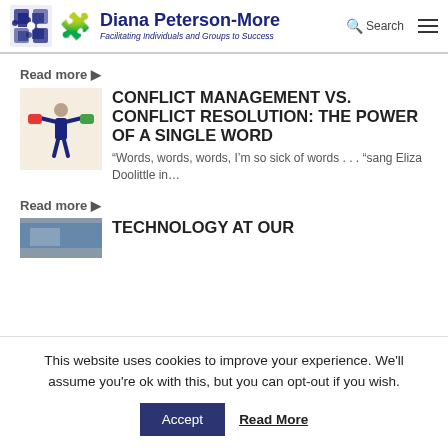Diana Peterson-More — Facilitating Individuals and Groups to Success
Read more ▶
[Figure (illustration): Person in suit lifting colored weights (red and green), conflict management illustration]
CONFLICT MANAGEMENT VS. CONFLICT RESOLUTION: THE POWER OF A SINGLE WORD
“Words, words, words, I’m so sick of words . . . “sang Eliza Doolittle in…
Read more ▶
[Figure (photo): Partial photo of technology-related subject, partially cut off at bottom]
TECHNOLOGY AT OUR
This website uses cookies to improve your experience. We'll assume you're ok with this, but you can opt-out if you wish.